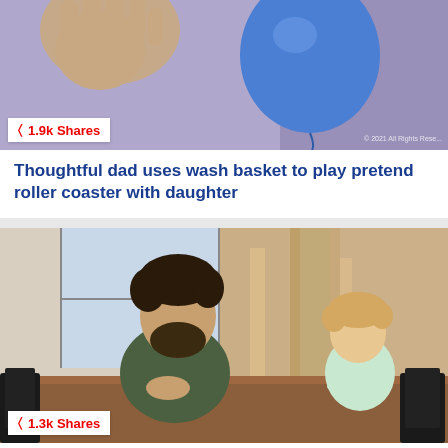[Figure (photo): A hand reaching toward a blue balloon against a purple background]
1.9k Shares
Thoughtful dad uses wash basket to play pretend roller coaster with daughter
[Figure (photo): A bearded man with curly hair in an olive t-shirt sitting at a wooden dining table with a smiling toddler girl with curly blonde hair leaning on the table]
1.3k Shares
Funny Dad Gives Toddler Hilarious Singing Lesson